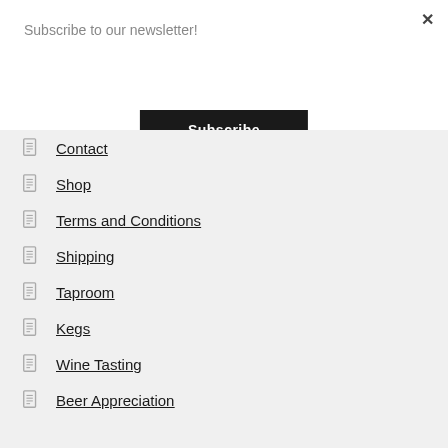Subscribe to our newsletter!
Subscribe
Contact
Shop
Terms and Conditions
Shipping
Taproom
Kegs
Wine Tasting
Beer Appreciation